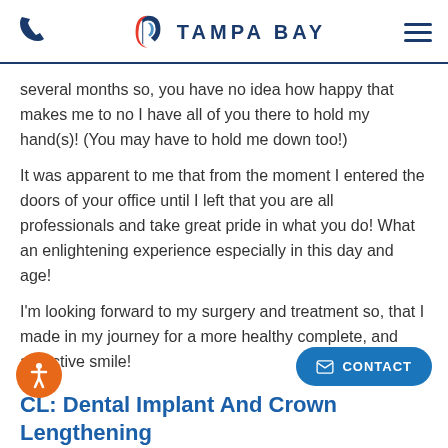Tampa Bay [logo]
several months so, you have no idea how happy that makes me to no I have all of you there to hold my hand(s)! (You may have to hold me down too!)
It was apparent to me that from the moment I entered the doors of your office until I left that you are all professionals and take great pride in what you do! What an enlightening experience especially in this day and age!
I'm looking forward to my surgery and treatment so, that I made in my journey for a more healthy complete, and attractive smile!
CL: Dental Implant And Crown Lengthening